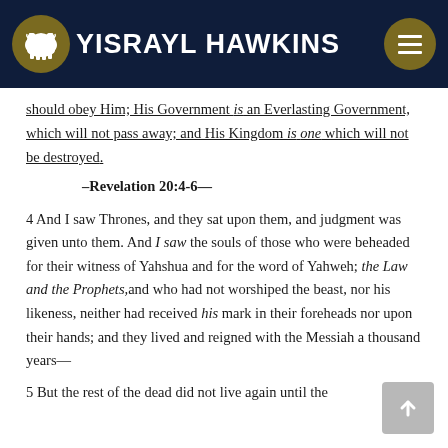YISRAYL HAWKINS
should obey Him; His Government is an Everlasting Government, which will not pass away; and His Kingdom is one which will not be destroyed.
—Revelation 20:4-6.
4 And I saw Thrones, and they sat upon them, and judgment was given unto them. And I saw the souls of those who were beheaded for their witness of Yahshua and for the word of Yahweh; the Law and the Prophets,and who had not worshiped the beast, nor his likeness, neither had received his mark in their foreheads nor upon their hands; and they lived and reigned with the Messiah a thousand years—
5 But the rest of the dead did not live again until the